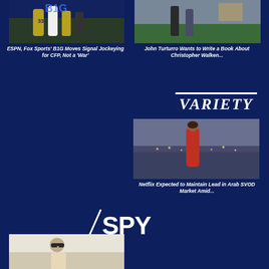[Figure (photo): Football players running on field with jersey number 33 visible, blue and yellow uniforms]
ESPN, Fox Sports' B1G Moves Signal Jockeying for CFP, Not a 'War'
[Figure (photo): Two men standing in a hallway or corridor, formal setting]
John Turturro Wants to Write a Book About Christopher Walken...
[Figure (logo): VARIETY logo in white italic serif text]
[Figure (photo): Woman in red dress standing outdoors near water at dusk, city lights in background]
Netflix Expected to Maintain Lead in Arab SVOD Market Amid...
[Figure (logo): SPY logo in white bold text with diagonal slash]
[Figure (photo): Person outdoors, partially visible at bottom of page]